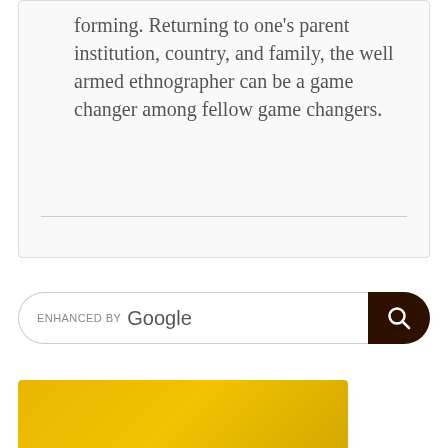forming. Returning to one's parent institution, country, and family, the well armed ethnographer can be a game changer among fellow game changers.
[Figure (screenshot): Google search bar with 'ENHANCED BY Google' label and a dark brown search button with magnifying glass icon]
[Figure (photo): Yellow/gold banner at the bottom of the page, partially visible]